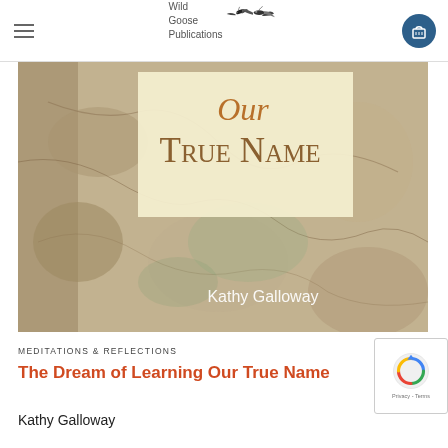Wild Goose Publications
[Figure (photo): Book cover of 'The Dream of Learning Our True Name' by Kathy Galloway. Features an antique map background in muted earthy tones with a cream/yellow rectangle overlay showing the title text 'Our True Name' in large serif font. Author name 'Kathy Galloway' appears in white text at the bottom.]
MEDITATIONS & REFLECTIONS
The Dream of Learning Our True Name
Kathy Galloway